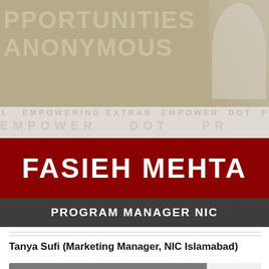[Figure (illustration): Top banner with khaki/tan background showing partial text 'PPORTUNITIES ANONYMOUS' in large bold letters with a partially visible person in white clothing on the right side]
[Figure (illustration): Watermark area with faded logos and text including 'EMPOWER' and 'dot' overlaid on light background]
FASIEH MEHTA
PROGRAM MANAGER NIC
Tanya Sufi (Marketing Manager, NIC Islamabad)
[Figure (screenshot): Video thumbnail showing SU logo circle with text 'Tanya Sufi | Marketing Manager N...' and a reCAPTCHA badge in bottom right corner with 'Privacy · Terms' text]